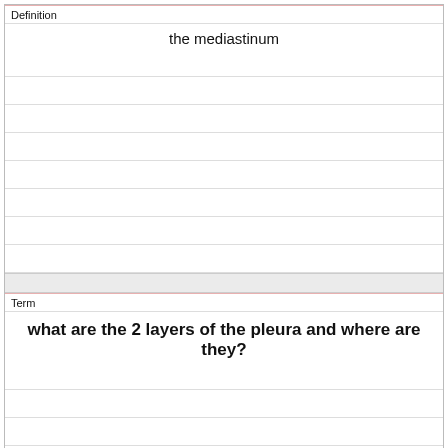Definition
the mediastinum
Term
what are the 2 layers of the pleura and where are they?